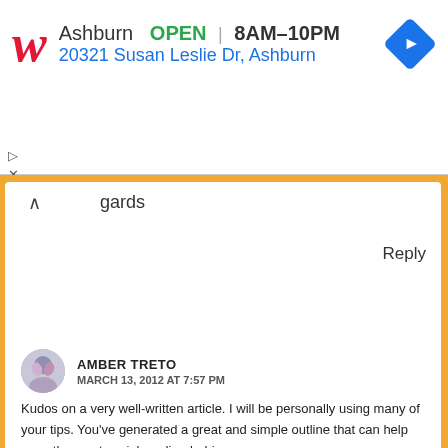[Figure (screenshot): Walgreens advertisement banner showing location in Ashburn, OPEN 8AM-10PM, address 20321 Susan Leslie Dr, Ashburn, with navigation icon]
gards
Reply
AMBER TRETO
MARCH 13, 2012 AT 7:57 PM
Kudos on a very well-written article. I will be personally using many of your tips. You've generated a great and simple outline that can help even the most social media-phobic person.